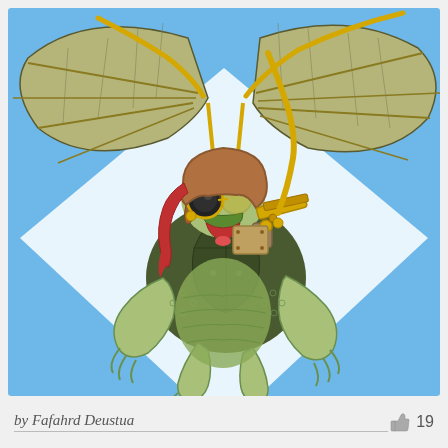[Figure (illustration): A steampunk turtle wearing a brown aviator helmet with red cloth and golden goggles, holding a brass/gold mechanical device, hanging from a large olive-green bat-like wing/hang-glider with yellow straps against a blue sky background with a white heart/diamond shape behind the turtle.]
by Fafahrd Deustua
19